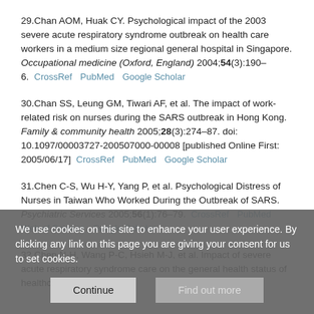29.Chan AOM, Huak CY. Psychological impact of the 2003 severe acute respiratory syndrome outbreak on health care workers in a medium size regional general hospital in Singapore. Occupational medicine (Oxford, England) 2004;54(3):190–6. CrossRef PubMed Google Scholar
30.Chan SS, Leung GM, Tiwari AF, et al. The impact of work-related risk on nurses during the SARS outbreak in Hong Kong. Family & community health 2005;28(3):274–87. doi: 10.1097/00003727-200507000-00008 [published Online First: 2005/06/17] CrossRef PubMed Google Scholar
31.Chen C-S, Wu H-Y, Yang P, et al. Psychological Distress of Nurses in Taiwan Who Worked During the Outbreak of SARS. Psychiatric Services 2005;56(1):76–79. CrossRef PubMed Web of Science Google Scholar
32.Chen N-H, Wang P-C, Hsieh M-J, et al. Impact of severe acute respiratory syndrome care on the general health status of healthcare
We use cookies on this site to enhance your user experience. By clicking any link on this page you are giving your consent for us to set cookies.